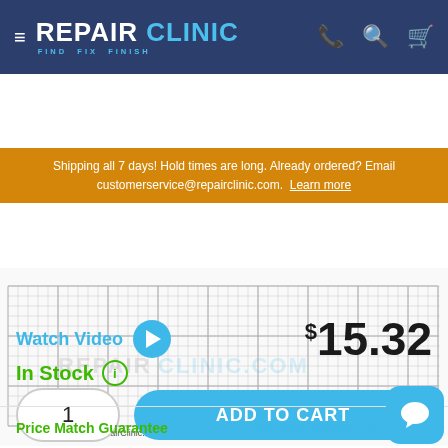REPAIR CLINIC — FIND. FIX. FINISH.
Shipping all 7 days! Hold times are long. Already ordered? Email customerservice@repairclinic.com. Learn more
[Figure (other): Graph paper / grid background with RepairClinic.com watermark and copyright notice © 2022 RepairClinic.com]
Watch Video  $15.32
In Stock
1  ADD TO CART
Price Match Guarantee   365-Day Return Po...